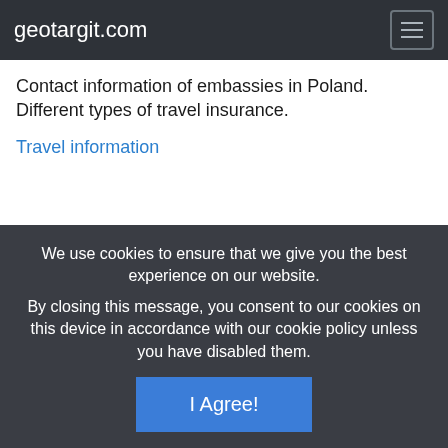geotargit.com
Contact information of embassies in Poland. Different types of travel insurance.
Travel information
We use cookies to ensure that we give you the best experience on our website. By closing this message, you consent to our cookies on this device in accordance with our cookie policy unless you have disabled them.
I Agree!